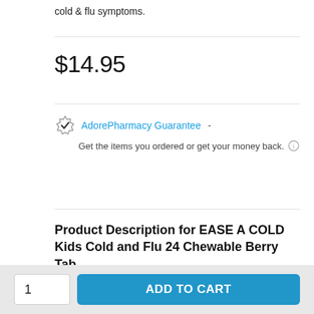cold & flu symptoms.
$14.95
AdorePharmacy Guarantee  -  Get the items you ordered or get your money back.
Product Description for EASE A COLD Kids Cold and Flu 24 Chewable Berry Tab
What are EASEaCOLD Kids Cold & Flu chewable
1
ADD TO CART